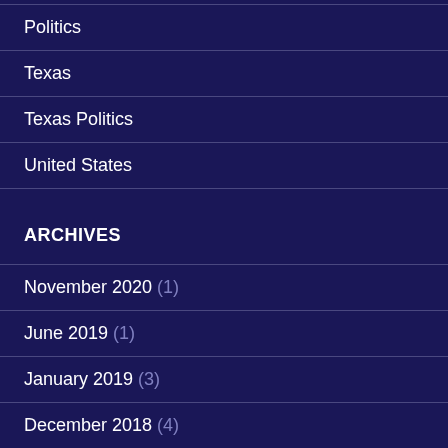Politics
Texas
Texas Politics
United States
ARCHIVES
November 2020 (1)
June 2019 (1)
January 2019 (3)
December 2018 (4)
November 2018 (9)
October 2018 (6)